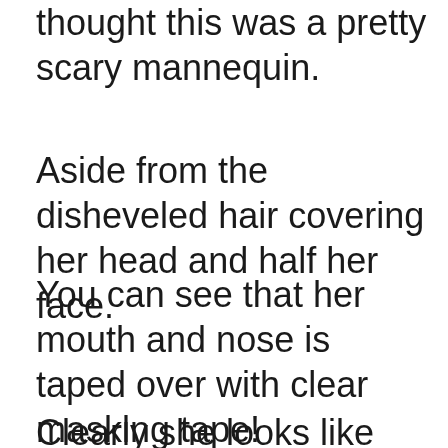thought this was a pretty scary mannequin.
Aside from the disheveled hair covering her head and half her face.
You can see that her mouth and nose is taped over with clear masking tape!
Clearly she looks like she has been